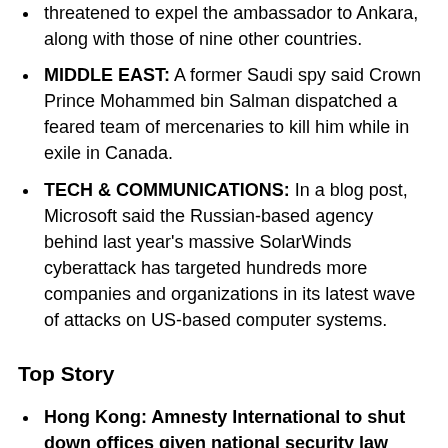threatened to expel the ambassador to Ankara, along with those of nine other countries.
MIDDLE EAST: A former Saudi spy said Crown Prince Mohammed bin Salman dispatched a feared team of mercenaries to kill him while in exile in Canada.
TECH & COMMUNICATIONS: In a blog post, Microsoft said the Russian-based agency behind last year's massive SolarWinds cyberattack has targeted hundreds more companies and organizations in its latest wave of attacks on US-based computer systems.
Top Story
Hong Kong: Amnesty International to shut down offices given national security law risks.
Amnesty International will close its offices in Hong Kong this year, becoming the latest non-governmental organization to